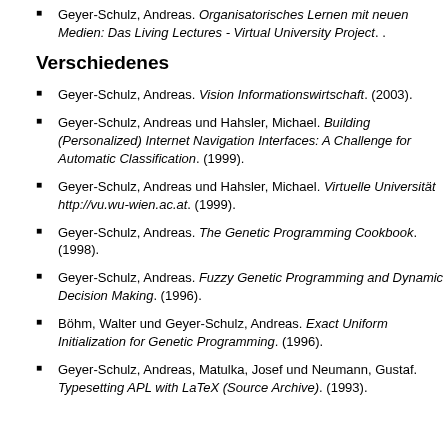Geyer-Schulz, Andreas. Organisatorisches Lernen mit neuen Medien: Das Living Lectures - Virtual University Project. .
Verschiedenes
Geyer-Schulz, Andreas. Vision Informationswirtschaft. (2003).
Geyer-Schulz, Andreas und Hahsler, Michael. Building (Personalized) Internet Navigation Interfaces: A Challenge for Automatic Classification. (1999).
Geyer-Schulz, Andreas und Hahsler, Michael. Virtuelle Universität http://vu.wu-wien.ac.at. (1999).
Geyer-Schulz, Andreas. The Genetic Programming Cookbook. (1998).
Geyer-Schulz, Andreas. Fuzzy Genetic Programming and Dynamic Decision Making. (1996).
Böhm, Walter und Geyer-Schulz, Andreas. Exact Uniform Initialization for Genetic Programming. (1996).
Geyer-Schulz, Andreas, Matulka, Josef und Neumann, Gustaf. Typesetting APL with LaTeX (Source Archive). (1993).